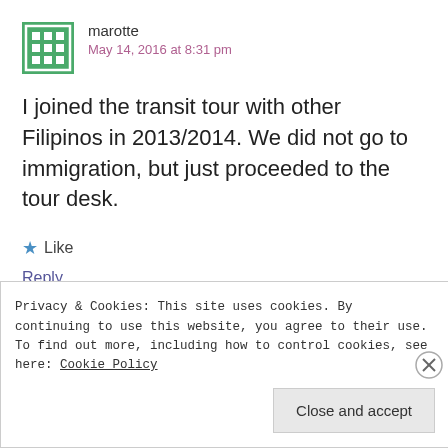[Figure (illustration): Green and white geometric avatar icon with grid/dot pattern]
marotte
May 14, 2016 at 8:31 pm
I joined the transit tour with other Filipinos in 2013/2014. We did not go to immigration, but just proceeded to the tour desk.
★ Like
Reply
Privacy & Cookies: This site uses cookies. By continuing to use this website, you agree to their use.
To find out more, including how to control cookies, see here: Cookie Policy
Close and accept